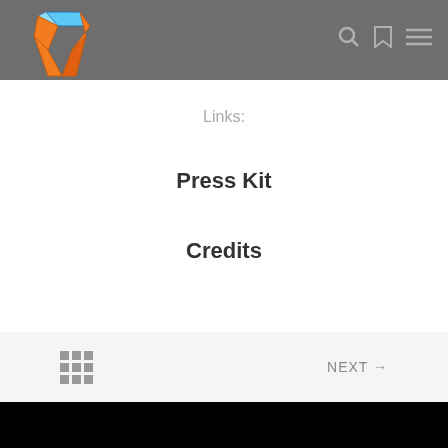[Figure (logo): Orange and blue V-shaped geometric logo in app header]
Links:
Press Kit
Credits
NEXT →